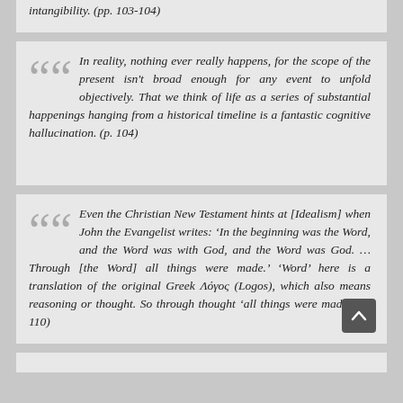intangibility. (pp. 103-104)
In reality, nothing ever really happens, for the scope of the present isn't broad enough for any event to unfold objectively. That we think of life as a series of substantial happenings hanging from a historical timeline is a fantastic cognitive hallucination. (p. 104)
Even the Christian New Testament hints at [Idealism] when John the Evangelist writes: 'In the beginning was the Word, and the Word was with God, and the Word was God. … Through [the Word] all things were made.' 'Word' here is a translation of the original Greek Λόγος (Logos), which also means reasoning or thought. So through thought 'all things were made.' (p. 110)